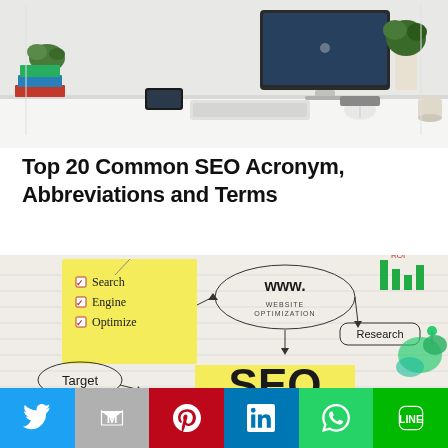[Figure (photo): Clean white desk with iMac computer, potted plants, notebooks, phone, and accessories]
Top 20 Common SEO Acronym, Abbreviations and Terms
[Figure (photo): SEO concept note with Search Engine Optimize checklist, www website optimization oval, Research label, Target oval, and large SEO text highlighted in yellow]
Twitter | Gmail | Pinterest | LinkedIn | WhatsApp | LINE social share buttons